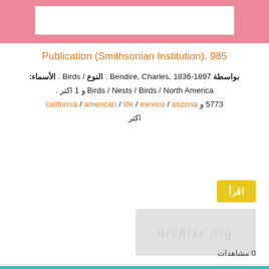[Figure (other): Pink header bar with white inner rectangle]
Publication (Smithsonian Institution). 985
بواسطة Bendire, Charles, 1836-1897 . النوع / Birds . الأسماء: Birds / Nests / Birds / North America و 1 اكثر . 5773 و arizona / mexico / life / american / california اكثر
اقرأ
[Figure (other): Light gray cover image placeholder with watermark text]
0 مشاهدات
[Figure (other): Teal bottom section with inner bordered box containing book title]
Special bulletin (Smithsonian Institution) ; no. 1, etc